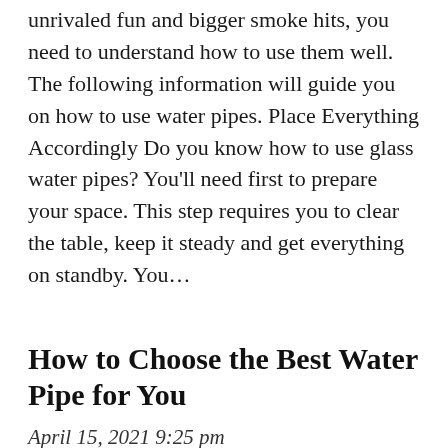unrivaled fun and bigger smoke hits, you need to understand how to use them well. The following information will guide you on how to use water pipes. Place Everything Accordingly Do you know how to use glass water pipes? You'll need first to prepare your space. This step requires you to clear the table, keep it steady and get everything on standby. You…
How to Choose the Best Water Pipe for You
April 15, 2021 9:25 pm
If you're looking for a new way to smoke